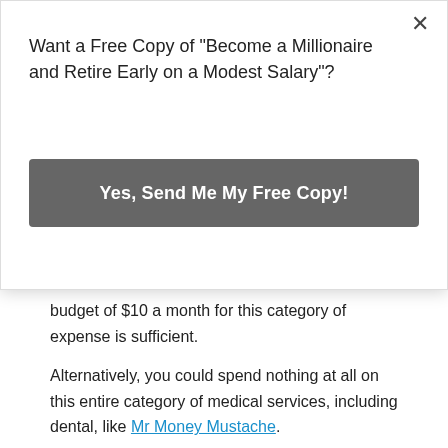[Figure (screenshot): Modal popup with blue bar at top, close button (×), text asking 'Want a Free Copy of "Become a Millionaire and Retire Early on a Modest Salary"?' and a gray button labeled 'Yes, Send Me My Free Copy!']
budget of $10 a month for this category of expense is sufficient.
Alternatively, you could spend nothing at all on this entire category of medical services, including dental, like Mr Money Mustache.
What About Discretionary